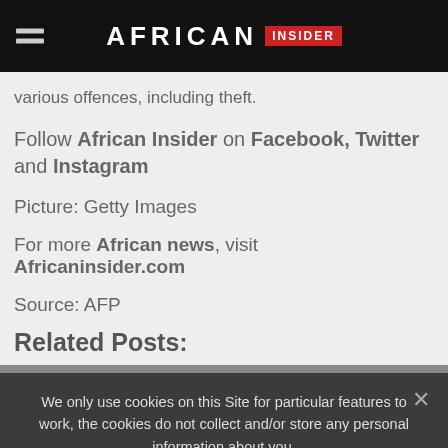AFRICAN INSIDER
various offences, including theft.
Follow African Insider on Facebook, Twitter and Instagram
Picture: Getty Images
For more African news, visit Africaninsider.com
Source: AFP
Related Posts:
We only use cookies on this Site for particular features to work, the cookies do not collect and/or store any personal information about you.